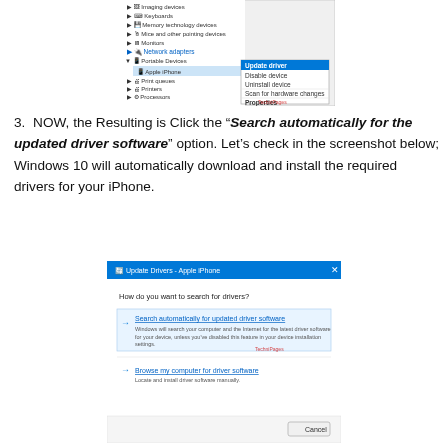[Figure (screenshot): Windows Device Manager showing context menu with 'Update driver' highlighted for Apple iPhone under Portable Devices]
NOW, the Resulting is Click the "Search automatically for the updated driver software" option. Let's check in the screenshot below; Windows 10 will automatically download and install the required drivers for your iPhone.
[Figure (screenshot): Windows 10 Update Drivers dialog asking 'How do you want to search for drivers?' with options: 'Search automatically for updated driver software' (highlighted) and 'Browse my computer for driver software']